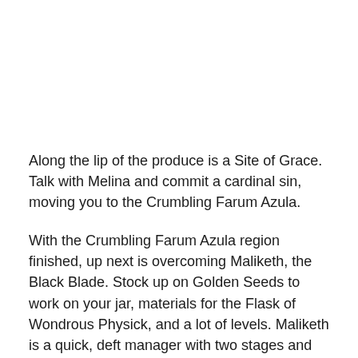Along the lip of the produce is a Site of Grace. Talk with Melina and commit a cardinal sin, moving you to the Crumbling Farum Azula.
With the Crumbling Farum Azula region finished, up next is overcoming Maliketh, the Black Blade. Stock up on Golden Seeds to work on your jar, materials for the Flask of Wondrous Physick, and a lot of levels. Maliketh is a quick, deft manager with two stages and incensed assaults.
Snatch the Site of Grace in Leyndall, Capital of Ash and quick travel to the Forbidden Lands. Utilize the lift behind you, stumble into the scaffold, then utilize that